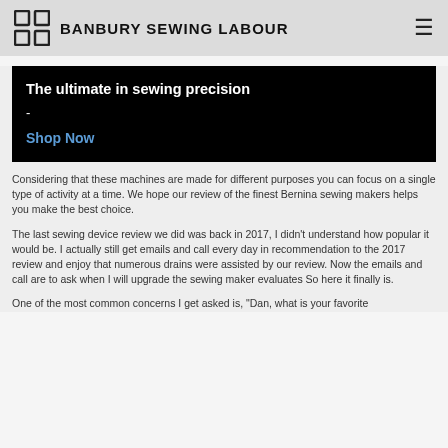BANBURY SEWING LABOUR
[Figure (other): Black promotional banner with text 'The ultimate in sewing precision -' and a 'Shop Now' link in blue]
Considering that these machines are made for different purposes you can focus on a single type of activity at a time. We hope our review of the finest Bernina sewing makers helps you make the best choice.
The last sewing device review we did was back in 2017, I didn't understand how popular it would be. I actually still get emails and call every day in recommendation to the 2017 review and enjoy that numerous drains were assisted by our review. Now the emails and call are to ask when I will upgrade the sewing maker evaluates So here it finally is.
One of the most common concerns I get asked is, "Dan, what is your favorite